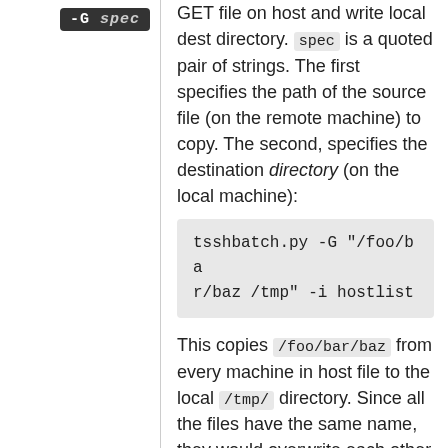[Figure (other): Dark tag/badge showing '-G spec' text in monospace on black background]
GET file on host and write local dest directory. spec is a quoted pair of strings. The first specifies the path of the source file (on the remote machine) to copy. The second, specifies the destination directory (on the local machine):
tsshbatch.py -G "/foo/bar/baz /tmp" -i hostlist
This copies /foo/bar/baz from every machine in host file to the local /tmp/ directory. Since all the files have the same name, they would overwrite each other if copied into the same directory. So tsshbatch